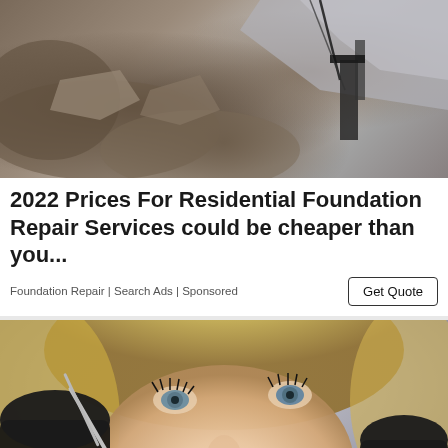[Figure (photo): Construction/excavation scene showing dirt, rocks, and machinery/cables — foundation repair context]
2022 Prices For Residential Foundation Repair Services could be cheaper than you...
Foundation Repair | Search Ads | Sponsored
[Figure (photo): Close-up of a smiling woman at the dentist, with a dental professional in black gloves holding dental instruments near her mouth]